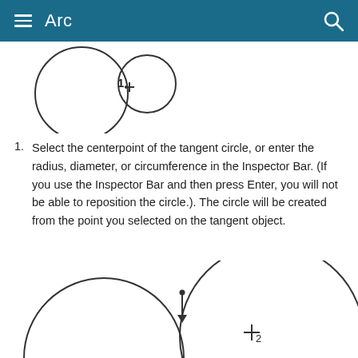Arc
[Figure (illustration): Two overlapping circles. The left circle is larger, the right smaller, tangent to each other. A crosshair (+) symbol is positioned near the tangent point, with a '1' label beside it.]
Select the centerpoint of the tangent circle, or enter the radius, diameter, or circumference in the Inspector Bar. (If you use the Inspector Bar and then press Enter, you will not be able to reposition the circle.). The circle will be created from the point you selected on the tangent object.
[Figure (illustration): Two large overlapping circles tangent at a point. A dot and downward arrow mark the tangent point between them, and a crosshair (+) with subscript '2' is shown inside the right circle.]